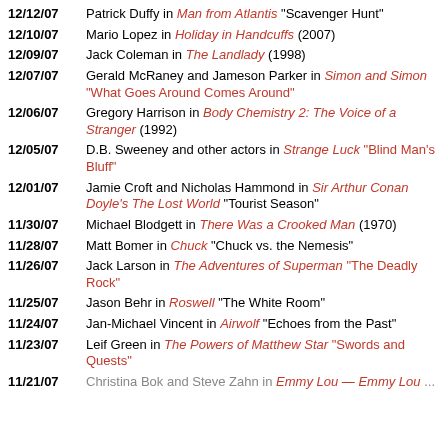12/12/07 Patrick Duffy in Man from Atlantis "Scavenger Hunt"
12/10/07 Mario Lopez in Holiday in Handcuffs (2007)
12/09/07 Jack Coleman in The Landlady (1998)
12/07/07 Gerald McRaney and Jameson Parker in Simon and Simon "What Goes Around Comes Around"
12/06/07 Gregory Harrison in Body Chemistry 2: The Voice of a Stranger (1992)
12/05/07 D.B. Sweeney and other actors in Strange Luck "Blind Man's Bluff"
12/01/07 Jamie Croft and Nicholas Hammond in Sir Arthur Conan Doyle's The Lost World "Tourist Season"
11/30/07 Michael Blodgett in There Was a Crooked Man (1970)
11/28/07 Matt Bomer in Chuck "Chuck vs. the Nemesis"
11/26/07 Jack Larson in The Adventures of Superman "The Deadly Rock"
11/25/07 Jason Behr in Roswell "The White Room"
11/24/07 Jan-Michael Vincent in Airwolf "Echoes from the Past"
11/23/07 Leif Green in The Powers of Matthew Star "Swords and Quests"
11/21/07 ...